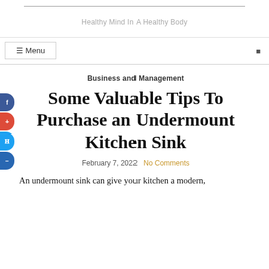Healthy Mind In A Healthy Body
☰ Menu
Business and Management
Some Valuable Tips To Purchase an Undermount Kitchen Sink
February 7, 2022  No Comments
An undermount sink can give your kitchen a modern,